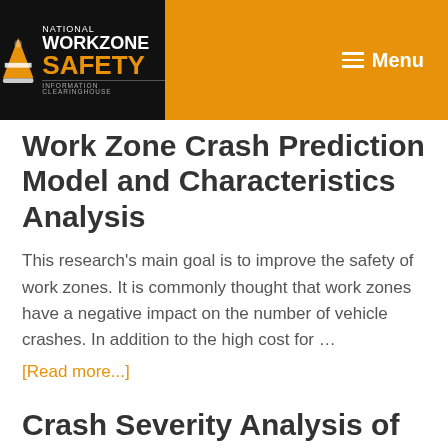National Workzone Safety Information Clearinghouse | Menu
Work Zone Crash Prediction Model and Characteristics Analysis
This research's main goal is to improve the safety of work zones. It is commonly thought that work zones have a negative impact on the number of vehicle crashes. In addition to the high cost for …
[Read more...]
Crash Severity Analysis of